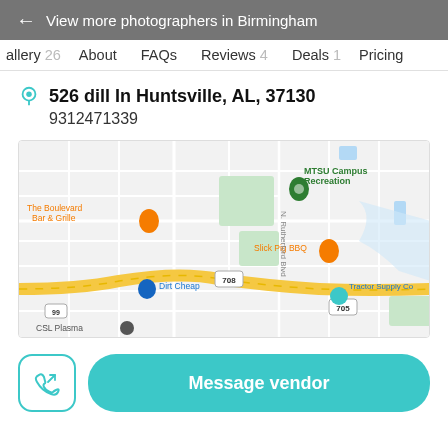← View more photographers in Birmingham
Gallery 26   About   FAQs   Reviews 4   Deals 1   Pricing
526 dill In Huntsville, AL, 37130
9312471339
[Figure (map): Google Maps screenshot showing area around Huntsville/Murfreesboro TN with landmarks: MTSU Campus Recreation, The Boulevard Bar & Grille, Slick Pig BBQ, Dirt Cheap, Tractor Supply Co, Walmart Supercenter, CSL Plasma. A yellow road curves through the lower portion.]
Message vendor